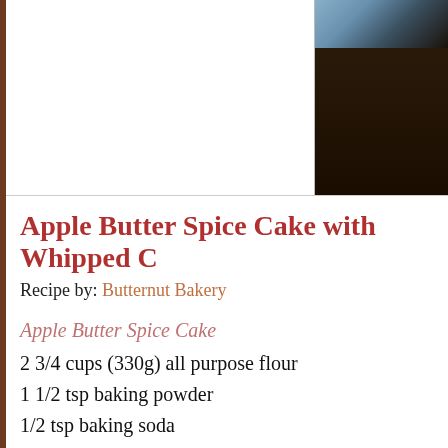[Figure (photo): Partial photo of a baked cake or dessert on a dark brown background, showing a light blue utensil or dish at the top, with a white border/mat on the left and a dark background on the right.]
Apple Butter Spice Cake with Whipped C
Recipe by: Butternut Bakery
Apple Butter Spice Cake
2 3/4 cups (330g) all purpose flour
1 1/2 tsp baking powder
1/2 tsp baking soda
1/2 tsp salt
2 tsp ground cinnamon
1 tsp ground ginger
1/2 tsp ground cardamom
1/4 tsp ground nutmeg